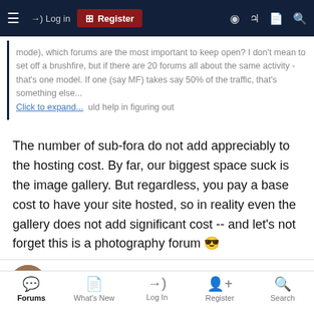Log in | Register
mode), which forums are the most important to keep open? I don't mean to set off a brushfire, but if there are 20 forums all about the same activity - that's one model. If one (say MF) takes say 50% of the traffic, that's something else... Click to expand...
The number of sub-fora do not add appreciably to the hosting cost. By far, our biggest space suck is the image gallery. But regardless, you pay a base cost to have your site hosted, so in reality even the gallery does not add significant cost -- and let's not forget this is a photography forum 😎
ptomsu
Workshop Member
Forums | What's New | Log In | Register | Search